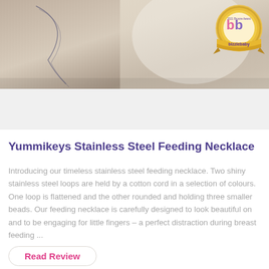[Figure (photo): Photo of a mother wearing a knitted sweater with a baby reaching toward a stainless steel feeding necklace. A Bizzle Baby 2021 Bronze Award badge is overlaid in the top right corner.]
Yummikeys Stainless Steel Feeding Necklace
Introducing our timeless stainless steel feeding necklace. Two shiny stainless steel loops are held by a cotton cord in a selection of colours.  One loop is flattened and the other rounded and holding three smaller beads. Our feeding necklace is carefully designed to look beautiful on and to be engaging for little fingers – a perfect distraction during breast feeding ...
Read Review